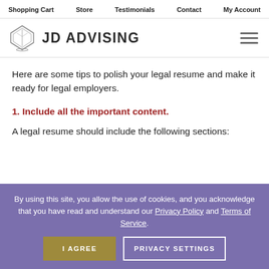Shopping Cart  Store  Testimonials  Contact  My Account
[Figure (logo): JD Advising logo with diamond/book icon and text 'JD ADVISING']
Here are some tips to polish your legal resume and make it ready for legal employers.
1. Include all the important content.
A legal resume should include the following sections:
By using this site, you allow the use of cookies, and you acknowledge that you have read and understand our Privacy Policy and Terms of Service.